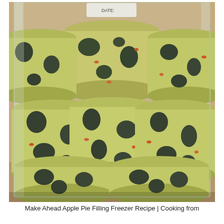[Figure (photo): Frozen apple pie filling portions stacked inside a clear plastic freezer bag, sitting on a kitchen counter. The cylindrical frozen portions are yellowish-green with visible dark apple chunks and orange/red flecks, arranged in rows of three stacked two high plus additional portions visible at top.]
Make Ahead Apple Pie Filling Freezer Recipe | Cooking from